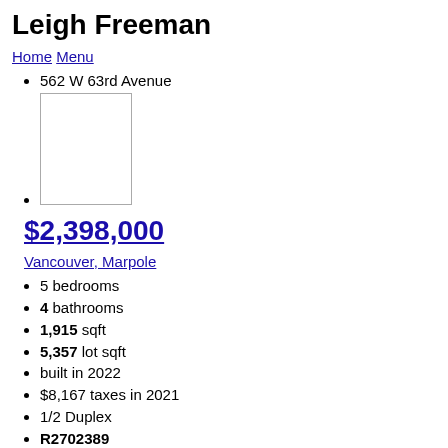Leigh Freeman
Home  Menu
562 W 63rd Avenue
[Figure (photo): Property photo placeholder image]
$2,398,000
Vancouver, Marpole
5 bedrooms
4 bathrooms
1,915 sqft
5,357 lot sqft
built in 2022
$8,167 taxes in 2021
1/2 Duplex
R2702389